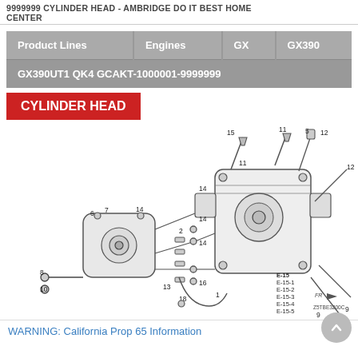9999999 CYLINDER HEAD - AMBRIDGE DO IT BEST HOME CENTER
| Product Lines | Engines | GX | GX390 |
| --- | --- | --- | --- |
| GX390UT1 QK4 GCAKT-1000001-9999999 |  |  |  |
CYLINDER HEAD
[Figure (engineering-diagram): Exploded parts diagram of a Honda GX390 cylinder head assembly showing numbered components including cylinder head, valve cover, gaskets, bolts, valves, and spark plug. Component reference numbers visible: 1, 2, 5, 6, 7, 8, 9, 10, 11, 12, 13, 14, 15, 16, E-15, E-15-1, E-15-2, E-15-3, E-15-4, E-15-5. Diagram code: Z5TBE3200C]
WARNING: California Prop 65 Information